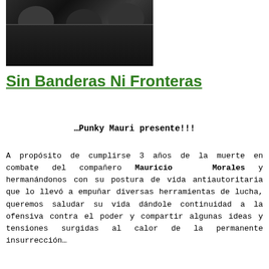[Figure (photo): Black and white photograph, dark tones, partially visible figures or foliage in shadow]
Sin Banderas Ni Fronteras
…Punky Mauri presente!!!
A propósito de cumplirse 3 años de la muerte en combate del compañero Mauricio Morales y hermanándonos con su postura de vida antiautoritaria que lo llevó a empuñar diversas herramientas de lucha, queremos saludar su vida dándole continuidad a la ofensiva contra el poder y compartir algunas ideas y tensiones surgidas al calor de la permanente insurrección…